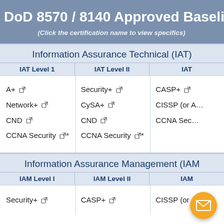DoD 8570 / 8140 Approved Baseline Cer
(Click the certification name to view specifics)
Information Assurance Technical (IAT)
| IAT Level 1 | IAT Level II | IAT |
| --- | --- | --- |
| A+ ↗
Network+ ↗
CND ↗
CCNA Security ↗* | Security+ ↗
CySA+ ↗
CND ↗
CCNA Security ↗* | CASP+ ↗
CISSP (or A...
CCNA Sec... |
Information Assurance Management (IAM)
| IAM Level I | IAM Level II | IAM |
| --- | --- | --- |
| Security+ ↗ | CASP+ ↗ | CISSP (or A... |